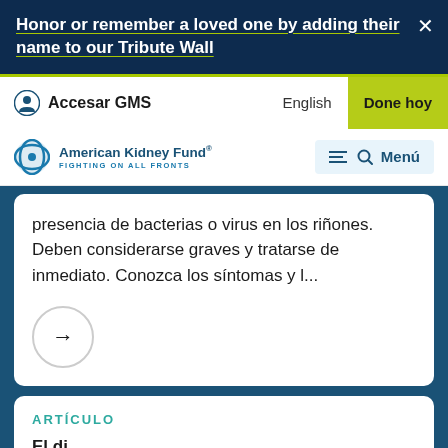Honor or remember a loved one by adding their name to our Tribute Wall
Accesar GMS  English  Done hoy
[Figure (logo): American Kidney Fund logo with tagline FIGHTING ON ALL FRONTS and a menu/search button labeled Menú]
presencia de bacterias o virus en los riñones. Deben considerarse graves y tratarse de inmediato. Conozca los síntomas y l...
ARTÍCULO